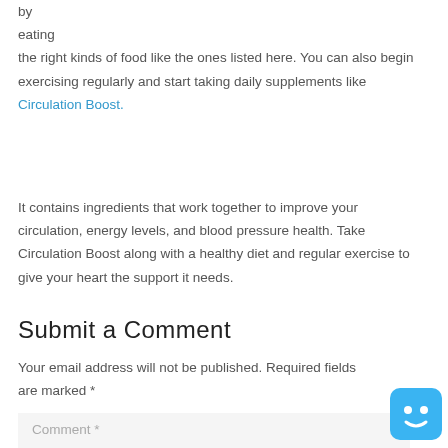by eating the right kinds of food like the ones listed here. You can also begin exercising regularly and start taking daily supplements like Circulation Boost.
It contains ingredients that work together to improve your circulation, energy levels, and blood pressure health. Take Circulation Boost along with a healthy diet and regular exercise to give your heart the support it needs.
Submit a Comment
Your email address will not be published. Required fields are marked *
Comment *